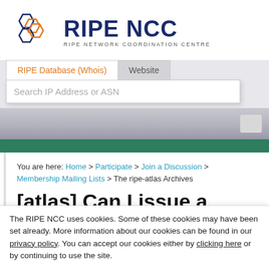[Figure (logo): RIPE NCC logo with hexagonal geometric icon in orange and dark blue, and text 'RIPE NCC' in dark navy bold with subtitle 'RIPE NETWORK COORDINATION CENTRE']
RIPE Database (Whois)  |  Website
Search IP Address or ASN
You are here: Home > Participate > Join a Discussion > Membership Mailing Lists > The ripe-atlas Archives
[atlas] Can I issue a
The RIPE NCC uses cookies. Some of these cookies may have been set already. More information about our cookies can be found in our privacy policy. You can accept our cookies either by clicking here or by continuing to use the site.